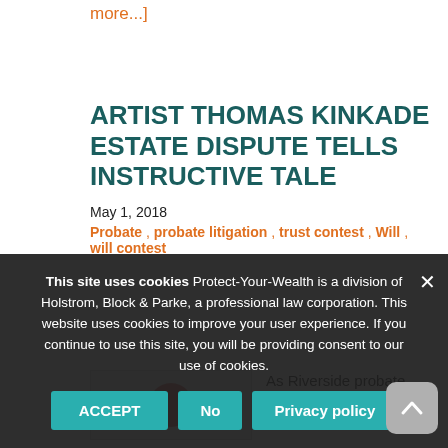more...]
ARTIST THOMAS KINKADE ESTATE DISPUTE TELLS INSTRUCTIVE TALE
May 1, 2018
Probate, probate litigation, trust contest, Will, will contest
[Figure (photo): Thumbnail image with a red circular logo/icon on light gray background]
As Riverside probate litigation attorneys, we
This site uses cookies Protect-Your-Wealth is a division of Holstrom, Block & Parke, a professional law corporation. This website uses cookies to improve your user experience. If you continue to use this site, you will be providing consent to our use of cookies.